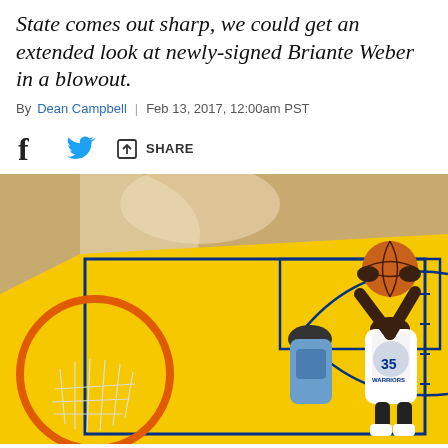State comes out sharp, we could get an extended look at newly-signed Briante Weber in a blowout.
By Dean Campbell | Feb 13, 2017, 12:00am PST
[Figure (other): Social share bar with Facebook, Twitter, and share icons]
[Figure (photo): Basketball player in Golden State Warriors #35 jersey dunking at the hoop, aerial/overhead view of the court showing yellow Warriors court markings, with a Memphis Grizzlies player in background.]